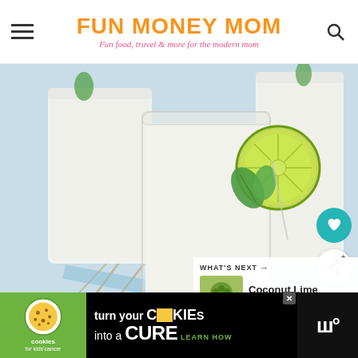FUN MONEY MOM – Fun food, travel & more for the modern mom
[Figure (photo): Photo of white/cream coconut lime drinks in tall clear glasses garnished with lime slices and mint leaves, on a colorful geometric patterned surface]
WHAT'S NEXT → Coconut Lime Cupcakes...
[Figure (advertisement): Cookies for Kids Cancer ad: turn your COOKIES into a CURE LEARN HOW]